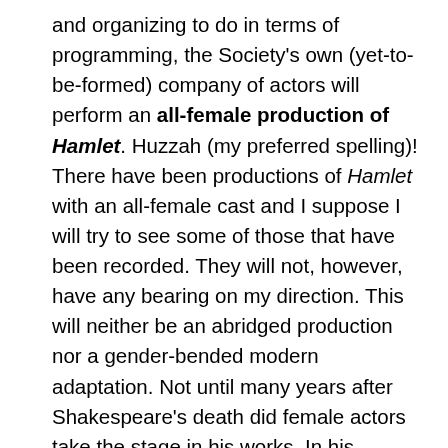and organizing to do in terms of programming, the Society's own (yet-to-be-formed) company of actors will perform an all-female production of Hamlet. Huzzah (my preferred spelling)! There have been productions of Hamlet with an all-female cast and I suppose I will try to see some of those that have been recorded. They will not, however, have any bearing on my direction. This will neither be an abridged production nor a gender-bended modern adaptation. Not until many years after Shakespeare's death did female actors take the stage in his works. In his lifetime, all of the actors were men. I can't imagine how this seemed, especially in the more serious plays of tragedies and histories. But, if a gander can portray a goose, then a goose can portray a gander. A stage with only female actors will be, to my mind, an extraordinary experience. Those who know me well, know there are more women in my life than men; I am just drawn to feminine energy. Thus, directing a female troupe